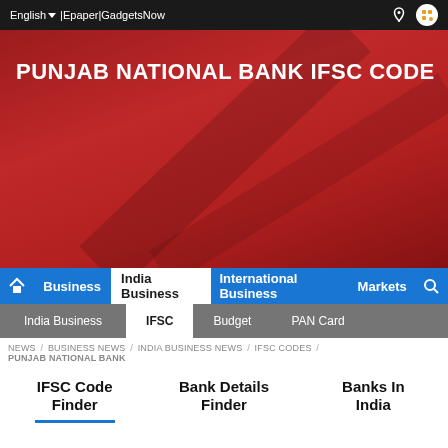English ▼ |Epaper|GadgetsNow
PUNJAB NATIONAL BANK IFSC CODE
Business | India Business | International Business | Markets
India Business | IFSC | Budget | PAN Card
NEWS / BUSINESS NEWS / INDIA BUSINESS NEWS / IFSC CODES / PUNJAB NATIONAL BANK
IFSC Code Finder
Bank Details Finder
Banks In India